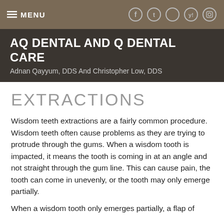MENU | [social icons: Facebook, Twitter, circle, Yelp, Instagram]
AQ DENTAL AND Q DENTAL CARE
Adnan Qayyum, DDS And Christopher Low, DDS
EXTRACTIONS
Wisdom teeth extractions are a fairly common procedure. Wisdom teeth often cause problems as they are trying to protrude through the gums. When a wisdom tooth is impacted, it means the tooth is coming in at an angle and not straight through the gum line. This can cause pain, the tooth can come in unevenly, or the tooth may only emerge partially.
When a wisdom tooth only emerges partially, a flap of